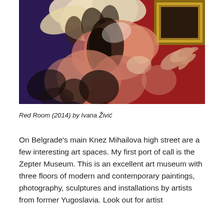[Figure (photo): A colorful painting of theatrical dancers in elaborate feathered costumes against a deep red and dark blue patterned background, with a gilded frame detail visible at upper right.]
Red Room (2014) by Ivana Živić
On Belgrade's main Knez Mihailova high street are a few interesting art spaces. My first port of call is the Zepter Museum. This is an excellent art museum with three floors of modern and contemporary paintings, photography, sculptures and installations by artists from former Yugoslavia. Look out for artist